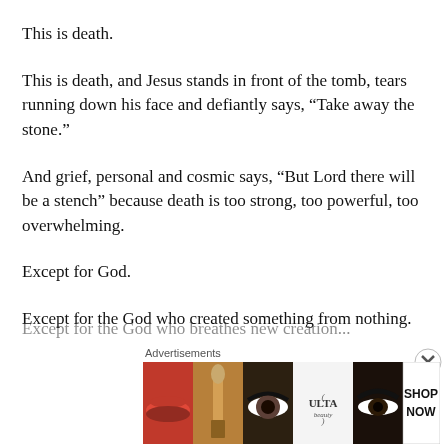This is death.
This is death, and Jesus stands in front of the tomb, tears running down his face and defiantly says, “Take away the stone.”
And grief, personal and cosmic says, “But Lord there will be a stench” because death is too strong, too powerful, too overwhelming.
Except for God.
Except for the God who created something from nothing.
Except for the God who breathes new creation...
Advertisements
[Figure (photo): Ulta Beauty advertisement banner showing makeup imagery including lips, brush, eye, Ulta logo, eye makeup, and SHOP NOW call to action]